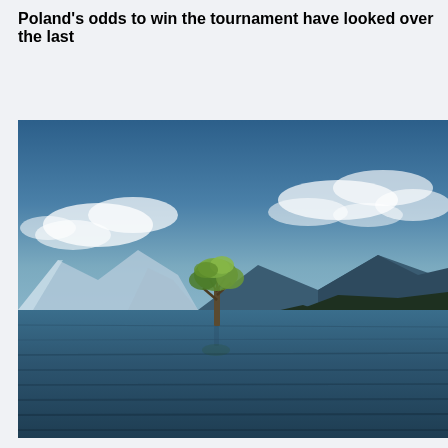Poland's odds to win the tournament have looked over the last
[Figure (photo): A lone tree standing in a calm lake with mountains and cloudy blue sky in the background, resembling the famous Wanaka tree in New Zealand.]